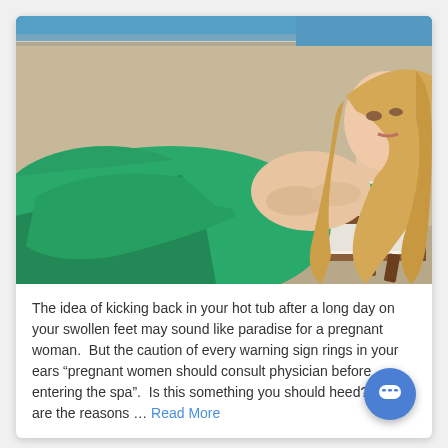[Figure (photo): A pregnant woman wearing a long green dress, reclining on a wooden sun lounger near a swimming pool. She has long blonde wavy hair and is holding her pregnant belly. The pool edge and tiles are visible in the background.]
The idea of kicking back in your hot tub after a long day on your swollen feet may sound like paradise for a pregnant woman. But the caution of every warning sign rings in your ears "pregnant women should consult physician before entering the spa". Is this something you should heed? What are the reasons ... Read More